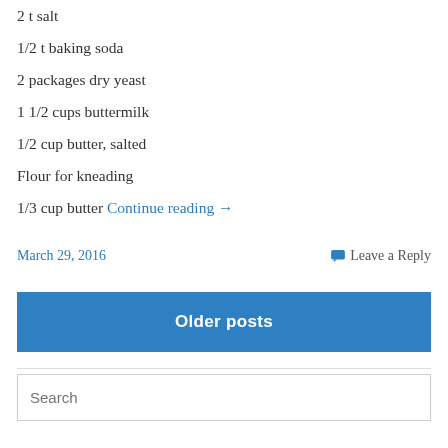2 t salt
1/2 t baking soda
2 packages dry yeast
1 1/2 cups buttermilk
1/2 cup butter, salted
Flour for kneading
1/3 cup butter Continue reading →
March 29, 2016
Leave a Reply
Older posts
Search